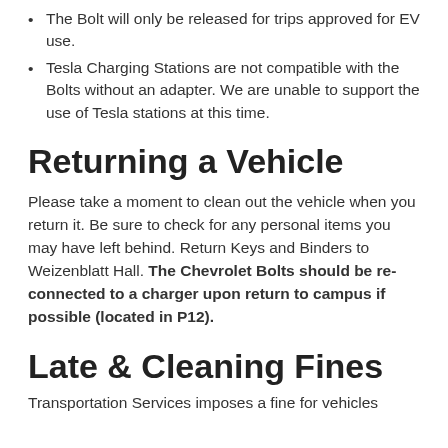The Bolt will only be released for trips approved for EV use.
Tesla Charging Stations are not compatible with the Bolts without an adapter. We are unable to support the use of Tesla stations at this time.
Returning a Vehicle
Please take a moment to clean out the vehicle when you return it. Be sure to check for any personal items you may have left behind. Return Keys and Binders to Weizenblatt Hall. The Chevrolet Bolts should be re-connected to a charger upon return to campus if possible (located in P12).
Late & Cleaning Fines
Transportation Services imposes a fine for vehicles